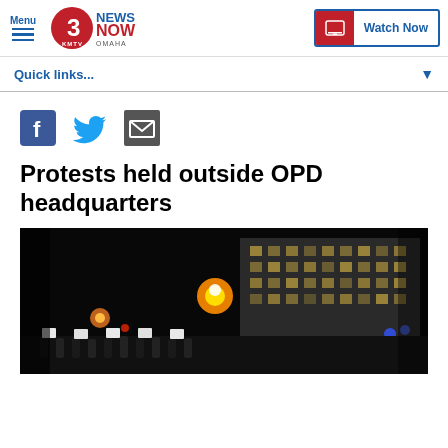Menu | KMTV 3 News Now Omaha | Watch Now
Quick links...
[Figure (screenshot): Social sharing icons: Facebook, Twitter, Email]
Protests held outside OPD headquarters
[Figure (photo): Night-time photo of protest outside OPD headquarters building with people holding signs and lights visible]